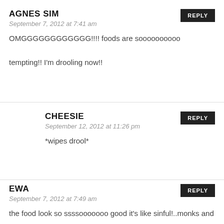AGNES SIM
September 7, 2012 at 7:41 am
OMGGGGGGGGGGGG!!!! foods are soooooooooo tempting!! I'm drooling now!!
REPLY
CHEESIE
September 12, 2012 at 11:26 pm
*wipes drool*
REPLY
EWA
September 7, 2012 at 7:49 am
the food look so ssssooooo good it's like sinful!..monks and nuns could not eat that because they'll feel sinful.
REPLY